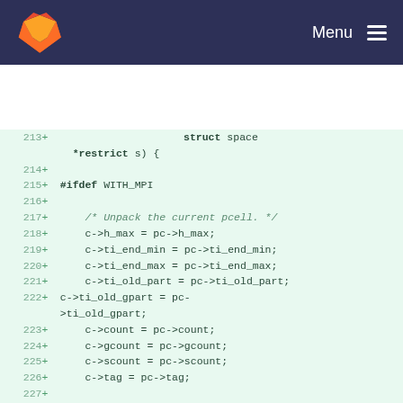[Figure (screenshot): GitLab navigation bar with fox logo and Menu button]
Code diff view showing lines 213-230 of a C source file with struct space *restrict, #ifdef WITH_MPI, unpacking pcell fields, and int count = 1;